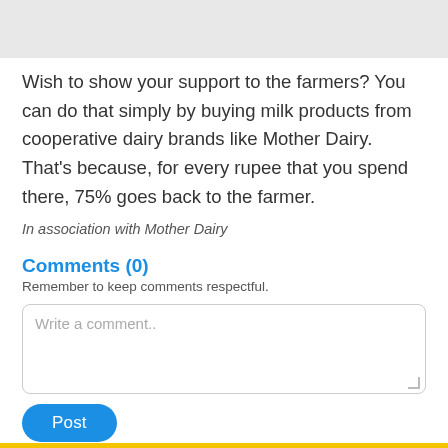Wish to show your support to the farmers?  You can do that simply by buying milk products from cooperative dairy brands like Mother Dairy. That's because, for every rupee that you spend there, 75% goes back to the farmer.
In association with Mother Dairy
Comments (0)
Remember to keep comments respectful.
Write a comment..
Post